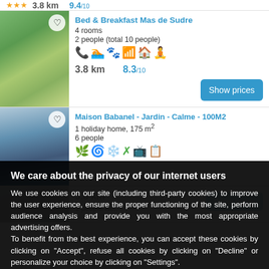3.8 km   9.4/10
[Figure (screenshot): Bed & Breakfast Mas de Sudre listing with garden photo]
Bed & Breakfast Mas de Sudre
4 rooms
2 people (total 10 people)
3.8 km   8.3/10
[Figure (screenshot): Maison Babanel listing with house photo]
Maison Babanel - Jardin - Calme - 100M2
1 holiday home, 175 m²
6 people
3.8 km
We care about the privacy of our internet users
We use cookies on our site (including third-party cookies) to improve the user experience, ensure the proper functioning of the site, perform audience analysis and provide you with the most appropriate advertising offers.
To benefit from the best experience, you can accept these cookies by clicking on "Accept", refuse all cookies by clicking on "Decline" or personalize your choice by clicking on "Settings".
SETTINGS   Decline   ACCEPT